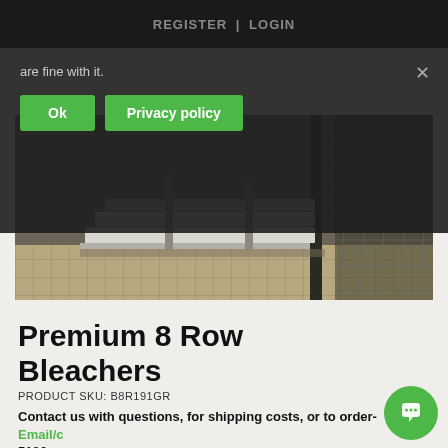REGISTER | LOGIN
are fine with it.
Ok   Privacy policy
[Figure (photo): Photo of bleacher aluminum components stacked on a floor near a metal grate/cage structure, showing channel and angle pieces.]
Premium 8 Row Bleachers
PRODUCT SKU: B8R191GR
Contact us with questions, for shipping costs, or to order-Email/c 5126